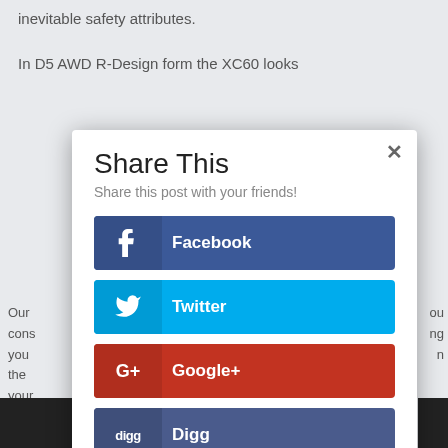inevitable safety attributes.
In D5 AWD R-Design form the XC60 looks
Share This
Share this post with your friends!
Facebook
Twitter
Google+
Digg
Pinterest
reddit
Our cons you the n your